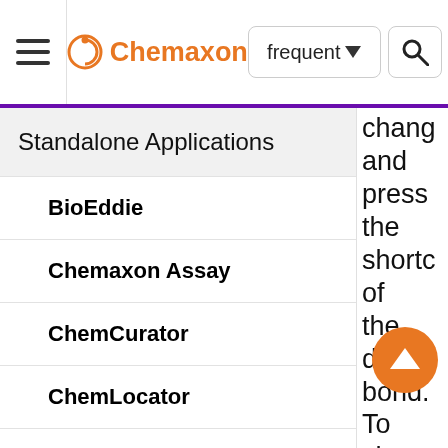≡ Chemaxon  frequent ▾  🔍
Standalone Applications
BioEddie
Chemaxon Assay
ChemCurator
ChemLocator
cHemTS
Compliance Checker
Compound Registration
Instant JChem
chang and press the shortc of the desire bond. To chang the der of